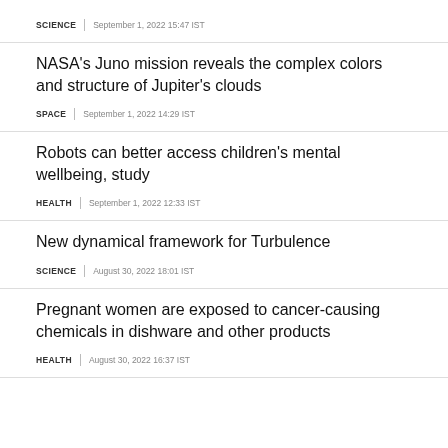SCIENCE | September 1, 2022 15:47 IST
NASA's Juno mission reveals the complex colors and structure of Jupiter's clouds
SPACE | September 1, 2022 14:29 IST
Robots can better access children's mental wellbeing, study
HEALTH | September 1, 2022 12:33 IST
New dynamical framework for Turbulence
SCIENCE | August 30, 2022 18:01 IST
Pregnant women are exposed to cancer-causing chemicals in dishware and other products
HEALTH | August 30, 2022 16:37 IST